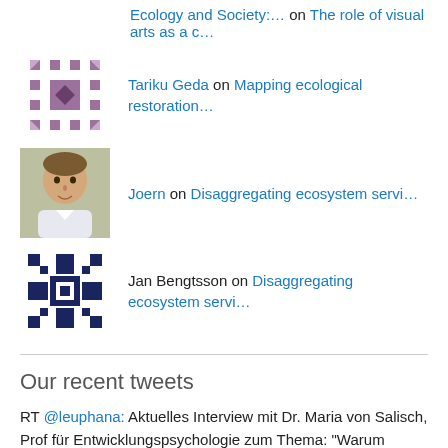Ecology and Society:… on The role of visual arts as a c…
Tariku Geda on Mapping ecological restoration…
Joern on Disaggregating ecosystem servi…
Jan Bengtsson on Disaggregating ecosystem servi…
Our recent tweets
RT @leuphana: Aktuelles Interview mit Dr. Maria von Salisch, Prof für Entwicklungspsychologie zum Thema: "Warum Schuldgefühle nicht das Kli… 2 weeks ago
Climbing Kilimanjaro for Healing Cancer gofund.me/a5f38c70
3 months ago